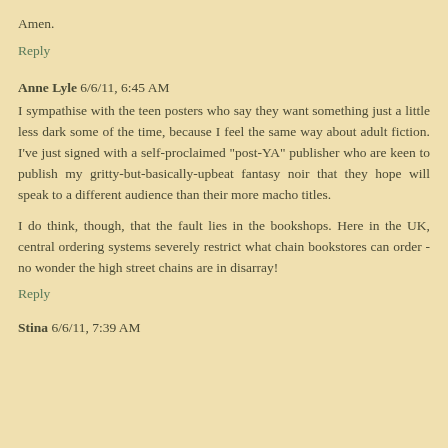Amen.
Reply
Anne Lyle 6/6/11, 6:45 AM
I sympathise with the teen posters who say they want something just a little less dark some of the time, because I feel the same way about adult fiction. I've just signed with a self-proclaimed "post-YA" publisher who are keen to publish my gritty-but-basically-upbeat fantasy noir that they hope will speak to a different audience than their more macho titles.
I do think, though, that the fault lies in the bookshops. Here in the UK, central ordering systems severely restrict what chain bookstores can order - no wonder the high street chains are in disarray!
Reply
Stina 6/6/11, 7:39 AM